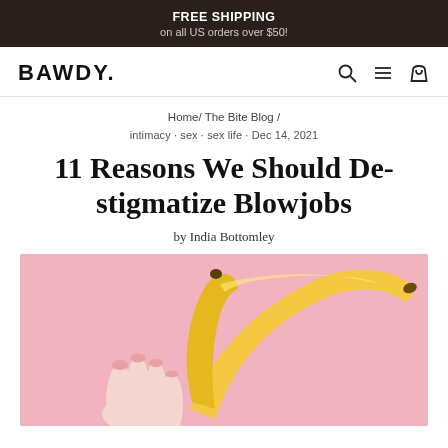FREE SHIPPING on all US orders over $50!
BAWDY.
Home/ The Bite Blog /
intimacy · sex · sex life · Dec 14, 2021
11 Reasons We Should De-stigmatize Blowjobs
by India Bottomley
[Figure (photo): A hand holding a partially peeled banana against a pink background.]